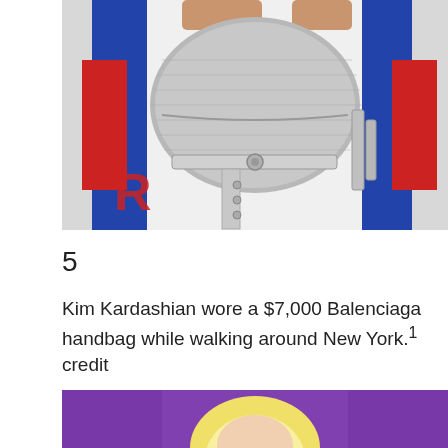[Figure (photo): Close-up of a person wearing white leggings with red and blue stripes, holding a large silver/metallic Balenciaga handbag with buckle straps]
5
Kim Kardashian wore a $7,000 Balenciaga handbag while walking around New York.1 credit
[Figure (photo): Partial photo of a blonde woman against a purple background]